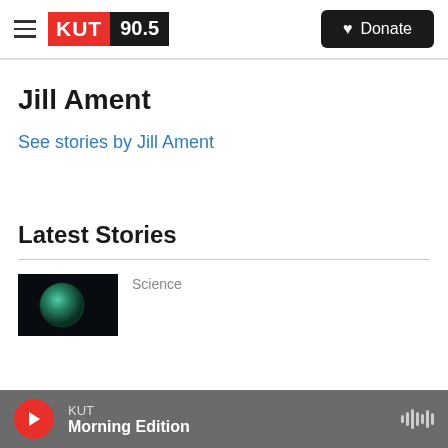KUT 90.5 | Donate
Jill Ament
See stories by Jill Ament
Latest Stories
[Figure (photo): Thumbnail image showing a dark background with a blue-green spherical object, likely a planet or celestial body]
Science
KUT Morning Edition